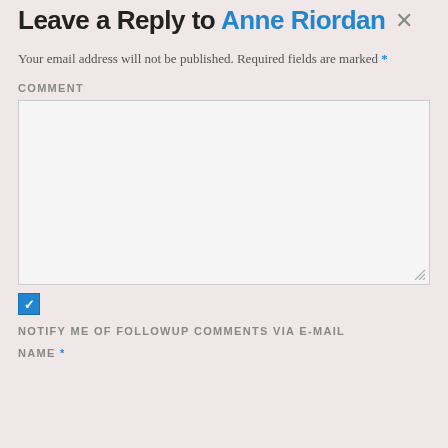Leave a Reply to Anne Riordan ×
Your email address will not be published. Required fields are marked *
COMMENT
[Figure (other): Large empty comment text area input box with resize handle at bottom right]
[Figure (other): Checked blue checkbox]
NOTIFY ME OF FOLLOWUP COMMENTS VIA E-MAIL
NAME *